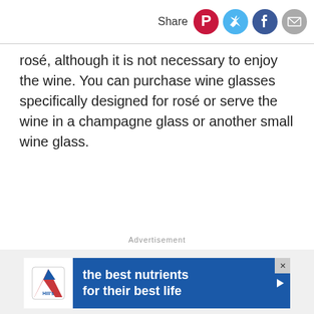Share
rosé, although it is not necessary to enjoy the wine. You can purchase wine glasses specifically designed for rosé or serve the wine in a champagne glass or another small wine glass.
Advertisement
[Figure (other): Hill's Pet Nutrition advertisement banner: 'the best nutrients for their best life']